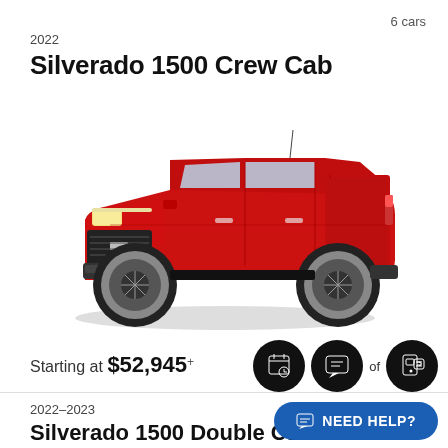6 cars
2022
Silverado 1500 Crew Cab
[Figure (photo): Red 2022 Chevrolet Silverado 1500 Crew Cab pickup truck, side profile view on white background]
Starting at $52,945*
2022–2023
Silverado 1500 Double Cab